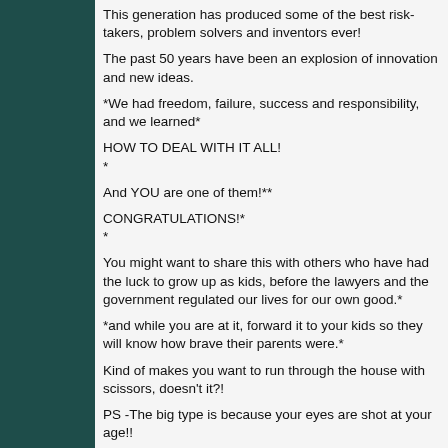This generation has produced some of the best risk-takers, problem solvers and inventors ever!
The past 50 years have been an explosion of innovation and new ideas.
*We had freedom, failure, success and responsibility, and we learned*
HOW TO DEAL WITH IT ALL!
*
And YOU are one of them!**
CONGRATULATIONS!*
*
You might want to share this with others who have had the luck to grow up as kids, before the lawyers and the government regulated our lives for our own good.*
*and while you are at it, forward it to your kids so they will know how brave their parents were.*
Kind of makes you want to run through the house with scissors, doesn't it?!
PS -The big type is because your eyes are shot at your age!!